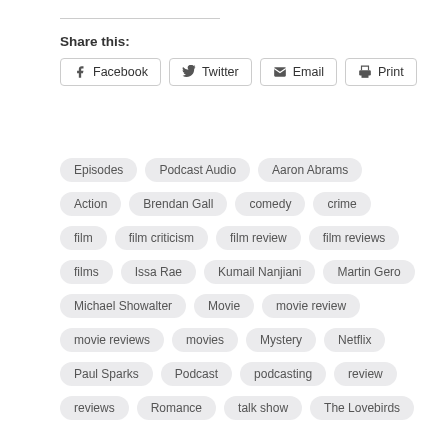Share this:
Facebook · Twitter · Email · Print
Episodes
Podcast Audio
Aaron Abrams
Action
Brendan Gall
comedy
crime
film
film criticism
film review
film reviews
films
Issa Rae
Kumail Nanjiani
Martin Gero
Michael Showalter
Movie
movie review
movie reviews
movies
Mystery
Netflix
Paul Sparks
Podcast
podcasting
review
reviews
Romance
talk show
The Lovebirds